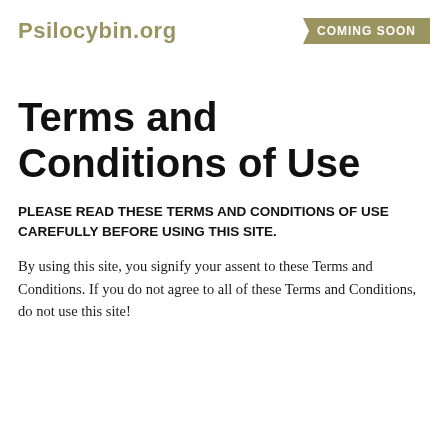Psilocybin.org
COMING SOON
Terms and Conditions of Use
PLEASE READ THESE TERMS AND CONDITIONS OF USE CAREFULLY BEFORE USING THIS SITE.
By using this site, you signify your assent to these Terms and Conditions. If you do not agree to all of these Terms and Conditions, do not use this site!